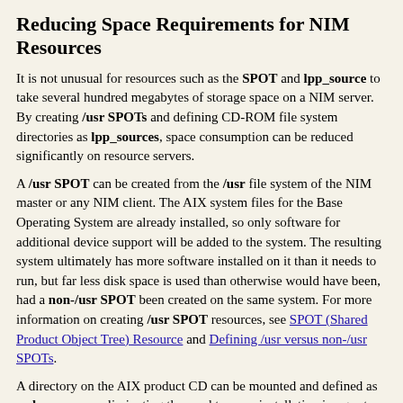Reducing Space Requirements for NIM Resources
It is not unusual for resources such as the SPOT and lpp_source to take several hundred megabytes of storage space on a NIM server. By creating /usr SPOTs and defining CD-ROM file system directories as lpp_sources, space consumption can be reduced significantly on resource servers.
A /usr SPOT can be created from the /usr file system of the NIM master or any NIM client. The AIX system files for the Base Operating System are already installed, so only software for additional device support will be added to the system. The resulting system ultimately has more software installed on it than it needs to run, but far less disk space is used than otherwise would have been, had a non-/usr SPOT been created on the same system. For more information on creating /usr SPOT resources, see SPOT (Shared Product Object Tree) Resource and Defining /usr versus non-/usr SPOTs.
A directory on the AIX product CD can be mounted and defined as an lpp_source, eliminating the need to copy installation images to the hard disk of a resource server. The defined lpp_source contains all the images available on the CD, but the CD must remain mounted at the server for the lpp_source to be usable in NIM